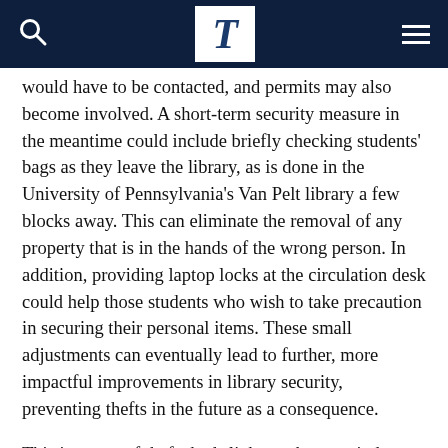T
would have to be contacted, and permits may also become involved. A short-term security measure in the meantime could include briefly checking students' bags as they leave the library, as is done in the University of Pennsylvania's Van Pelt library a few blocks away. This can eliminate the removal of any property that is in the hands of the wrong person. In addition, providing laptop locks at the circulation desk could help those students who wish to take precaution in securing their personal items. These small adjustments can eventually lead to further, more impactful improvements in library security, preventing thefts in the future as a consequence.
This instance of theft sheds light on the poor indoor Drexel security while also giving students more reason